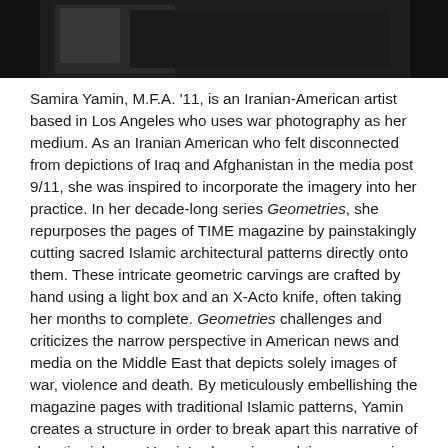[Figure (photo): Dark photograph strip at top of page, showing a partially visible portrait or scene against a dark background.]
Samira Yamin, M.F.A. '11, is an Iranian-American artist based in Los Angeles who uses war photography as her medium. As an Iranian American who felt disconnected from depictions of Iraq and Afghanistan in the media post 9/11, she was inspired to incorporate the imagery into her practice. In her decade-long series Geometries, she repurposes the pages of TIME magazine by painstakingly cutting sacred Islamic architectural patterns directly onto them. These intricate geometric carvings are crafted by hand using a light box and an X-Acto knife, often taking her months to complete. Geometries challenges and criticizes the narrow perspective in American news and media on the Middle East that depicts solely images of war, violence and death. By meticulously embellishing the magazine pages with traditional Islamic patterns, Yamin creates a structure in order to break apart this narrative of chaotic violence. Yamin's obsessive and time-consuming method is a poetic meditation on the truth of an image.
Yamin's process of obfuscating images is explored further in her most recent series Refractions. Rather than carving into the pages of TIME magazine as in Geometries, she carves optical glass and places it atop the pages in order to refract images of the Syrian